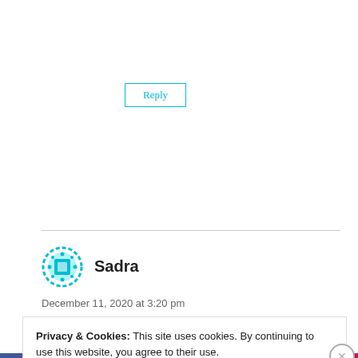Reply
[Figure (illustration): Teal/cyan decorative circular avatar icon with dotted border pattern and square center for user Sadra]
Sadra
December 11, 2020 at 3:20 pm
Privacy & Cookies: This site uses cookies. By continuing to use this website, you agree to their use.
To find out more, including how to control cookies, see here:
Cookie Policy
Close and accept